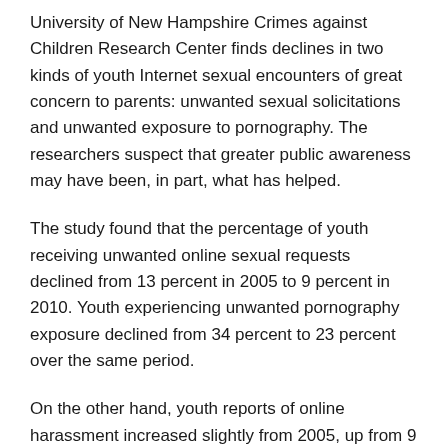University of New Hampshire Crimes against Children Research Center finds declines in two kinds of youth Internet sexual encounters of great concern to parents: unwanted sexual solicitations and unwanted exposure to pornography. The researchers suspect that greater public awareness may have been, in part, what has helped.
The study found that the percentage of youth receiving unwanted online sexual requests declined from 13 percent in 2005 to 9 percent in 2010. Youth experiencing unwanted pornography exposure declined from 34 percent to 23 percent over the same period.
On the other hand, youth reports of online harassment increased slightly from 2005, up from 9 percent to 11 percent.